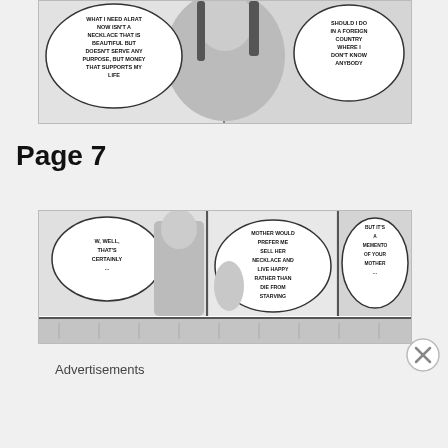[Figure (illustration): Manga panel showing two speech bubbles. Left bubble: 'WHAT I NEED ALRAT NOW ISN'T A NECKLACE THAT IS BEAUTIFUL BUT DOESN'T SERVE ANY PURPOSE, BUT MONEY THAT SUPPORTS MY LIFE'. Right bubble: 'SHOULD I DO IN A FOREIGN COUNTRY WHERE I DON'T KNOW ANYBODY'.]
Page 7
[Figure (illustration): Manga page 7 panels. Left panel speech bubble: 'W, WELL, THAT'S CERTAINLY ...'. Center panel speech bubble: 'MOTHER WOULD PREFER ME SELL HER NECKLACE AND LIVE HAPPY RATHER THAN DIE FROM STARVING'. Right panel speech bubble: 'BUT IT'S A MEMENTO OF YOUR MOTHER ...'. Below is a partial strip panel.]
Advertisements